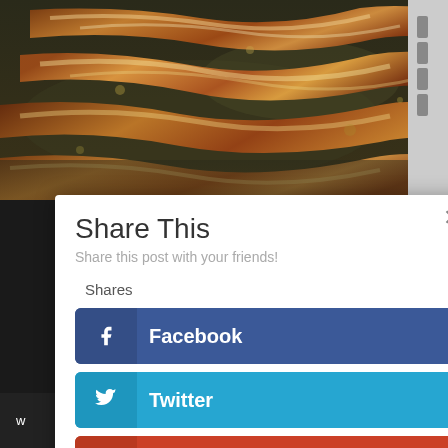[Figure (photo): Bacon strips sizzling in a pan, close-up food photography]
Share This
Share this post with your friends!
Shares
Facebook
Twitter
Google+
Pinterest